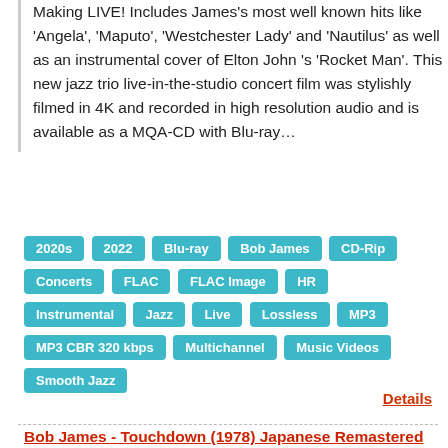Making LIVE! Includes James's most well known hits like 'Angela', 'Maputo', 'Westchester Lady' and 'Nautilus' as well as an instrumental cover of Elton John 's 'Rocket Man'. This new jazz trio live-in-the-studio concert film was stylishly filmed in 4K and recorded in high resolution audio and is available as a MQA-CD with Blu-ray…
2020s
2022
Blu-ray
Bob James
CD-Rip
Concerts
FLAC
FLAC Image
HR
Instrumental
Jazz
Live
Lossless
MP3
MP3 CBR 320 kbps
Multichannel
Music Videos
Smooth Jazz
Details
Bob James - Touchdown (1978) Japanese Remastered Reissue 2015